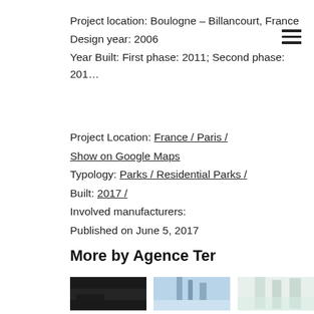Project location: Boulogne – Billancourt, France
Design year: 2006
Year Built: First phase: 2011; Second phase: 201…
Project Location: France / Paris /
Show on Google Maps
Typology: Parks / Residential Parks /
Built: 2017 /
Involved manufacturers:
Published on June 5, 2017
More by Agence Ter
[Figure (photo): Three thumbnail images side by side: a dark aerial/landscape photo, a construction site with cranes, and a tall glass building with greenery]